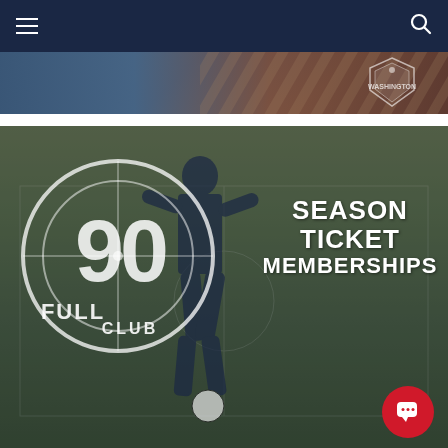Navigation bar with hamburger menu and search icon
[Figure (photo): Partial banner image with dark blue and brown tones, showing a Washington Spirit logo/shield in the upper right corner]
[Figure (photo): Soccer promotional image showing a female soccer player in dark uniform dribbling a ball on a green field. Overlaid with 'Full 90 Club' circular logo on the left and 'Season Ticket Memberships' text on the right. A red chat bubble icon appears in the bottom right corner.]